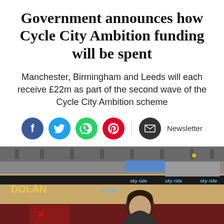Government announces how Cycle City Ambition funding will be spent
Manchester, Birmingham and Leeds will each receive £22m as part of the second wave of the Cycle City Ambition scheme
[Figure (other): Social sharing icons: Facebook, Twitter, WhatsApp, Pinterest, Email/Newsletter]
[Figure (photo): Photo of a person at a velodrome cycling venue with DOLAN branding and Sky Ride banners visible in the background]